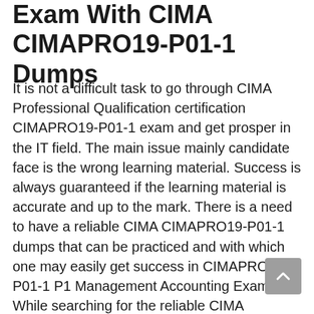Exam With CIMA CIMAPRO19-P01-1 Dumps
It is not a difficult task to go through CIMA Professional Qualification certification CIMAPRO19-P01-1 exam and get prosper in the IT field. The main issue mainly candidate face is the wrong learning material. Success is always guaranteed if the learning material is accurate and up to the mark. There is a need to have a reliable CIMA CIMAPRO19-P01-1 dumps that can be practiced and with which one may easily get success in CIMAPRO19-P01-1 P1 Management Accounting Exam. While searching for the reliable CIMA CIMAPRO19-P01-1 exam questions source, you may find many online, but all of them always do not guarantee to produce authentic result in CIMA Professional Qualification exam. In such case, you should go